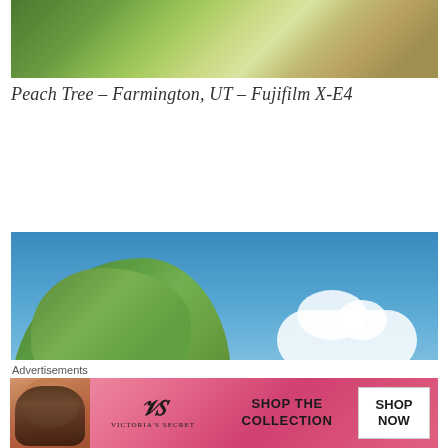[Figure (photo): Close-up of peach tree branches with peaches and leaves, cropped at top of page]
Peach Tree – Farmington, UT – Fujifilm X-E4
[Figure (photo): Tall leafy green summer tree against a bright blue sky with white clouds, Farmington UT, Fujifilm X-]
Summer Tree – Farmington, UT – Fujifilm X-
Advertisements
[Figure (other): Victoria's Secret advertisement banner with model, VS logo, 'SHOP THE COLLECTION' text, and 'SHOP NOW' call-to-action button]